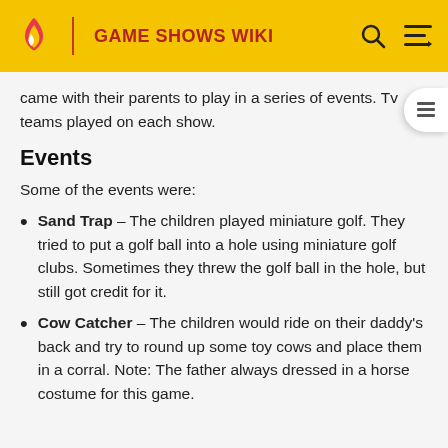GAME SHOWS WIKI
came with their parents to play in a series of events. Two teams played on each show.
Events
Some of the events were:
Sand Trap – The children played miniature golf. They tried to put a golf ball into a hole using miniature golf clubs. Sometimes they threw the golf ball in the hole, but still got credit for it.
Cow Catcher – The children would ride on their daddy's back and try to round up some toy cows and place them in a corral. Note: The father always dressed in a horse costume for this game.